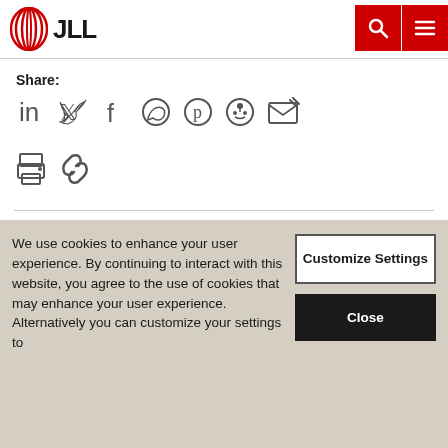[Figure (logo): JLL logo with red concentric oval icon and bold JLL text]
[Figure (infographic): Red search icon button and red hamburger menu button in top right]
Share:
[Figure (infographic): Social share icons row 1: LinkedIn, Twitter, Facebook, WhatsApp, Pinterest, Reddit, Email]
[Figure (infographic): Social share icons row 2: Print, Link/Copy]
Contributors:
We use cookies to enhance your user experience. By continuing to interact with this website, you agree to the use of cookies that may enhance your user experience. Alternatively you can customize your settings to
Customize Settings
Close